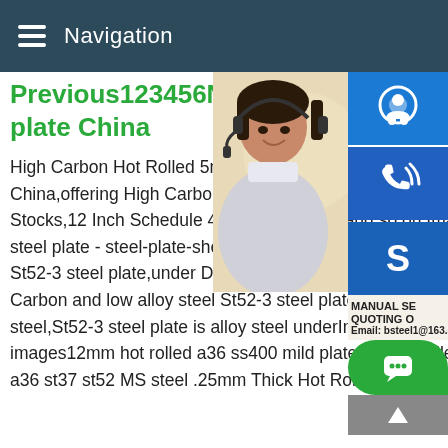Navigation
Previous123456Nexthot rolled carbon mild steel plate China
High Carbon Hot Rolled 5mm 10mm 12mm Steel Plate,Steel Plate,Mild Steel Plate manufacturers/suppliers in China,offering High Carbon Hot Rolled 5mm Thick Mild Steel Plate,Short Delivery Tisco Stocks,12 Inch Schedule 40 Seamless Steel Pipe and so on.Images of St 52 3 Sheet 12 images steel plate - steel-plate-sheetCarbon and low alloy St52-3 steel plate St52-3 steel plate,under DIN17100 standard St52-3 steel plate,under DIN17100 standard,we can regard St52-3 steel plate as Carbon and low alloy steel St52-3 steel plate is one mainly of Carbon and low alloy steel,St52-3 steel plate is alloy steel underImages of 12mm Thick Hot Rolled St37 2 images12mm hot rolled a36 ss400 mild plate - Cold Rolled 25mm thick mild plate astm a36 st37 st52 MS steel .25mm Thick Hot Rolled Mi
[Figure (photo): Woman with headset customer service photo]
[Figure (infographic): Side icons: support, phone/Skype, Skype logo. MANUAL SERVICE QUOTING ONLY. Email: bsteel1@163.com]